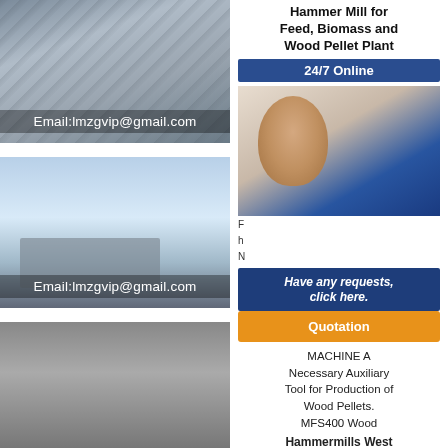[Figure (photo): Industrial conveyor/biomass plant facility interior, with email overlay: Email:lmzgvip@gmail.com]
[Figure (photo): Outdoor industrial equipment (screening/crushing machine) under blue sky, with email overlay: Email:lmzgvip@gmail.com]
[Figure (photo): Industrial facility exterior, partially visible]
Hammer Mill for Feed, Biomass and Wood Pellet Plant
24/7 Online
[Figure (photo): Customer service representative with headset smiling]
Have any requests, click here.
Quotation
MACHINE A Necessary Auxiliary Tool for Production of Wood Pellets. MFS400 Wood
Hammermills West